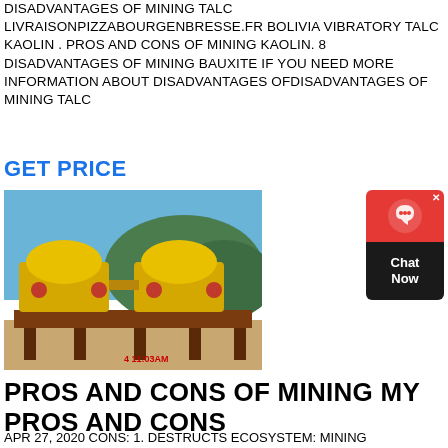DISADVANTAGES OF MINING TALC LIVRAISONPIZZABOURGENBRESSE.FR BOLIVIA VIBRATORY TALC KAOLIN . PROS AND CONS OF MINING KAOLIN. 8 DISADVANTAGES OF MINING BAUXITE IF YOU NEED MORE INFORMATION ABOUT DISADVANTAGES OFDISADVANTAGES OF MINING TALC
GET PRICE
[Figure (photo): Outdoor photo of large yellow industrial mining/crushing machinery on a metal platform with green hills in background. Timestamp '4 11:03AM' visible in red at bottom.]
[Figure (other): Chat widget with red top section showing headset icon and X close button, dark bottom section with 'Chat Now' text.]
PROS AND CONS OF MINING MY PROS AND CONS
APR 27, 2020 CONS: 1. DESTRUCTS ECOSYSTEM: MINING